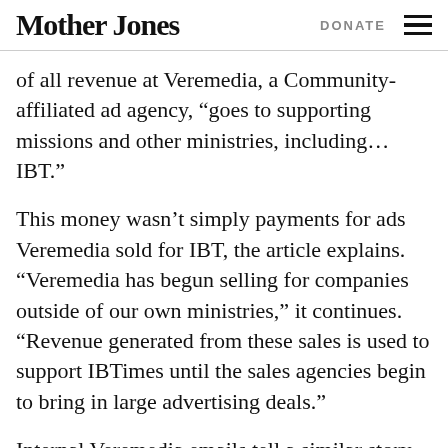Mother Jones  DONATE
of all revenue at Veremedia, a Community-affiliated ad agency, “goes to supporting missions and other ministries, including…IBT.”
This money wasn’t simply payments for ads Veremedia sold for IBT, the article explains. “Veremedia has begun selling for companies outside of our own ministries,” it continues. “Revenue generated from these sales is used to support IBTimes until the sales agencies begin to bring in large advertising deals.”
Internal Veremedia emails tell a similar story. “By grace of God, PD gave us honor to help…IBTimes and other ministries.” Sophia Yu, Veremedia’s